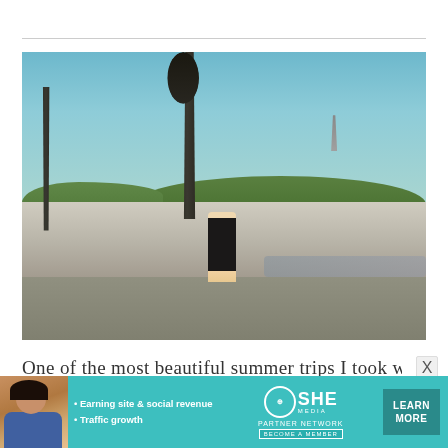[Figure (photo): Woman in black dress standing on Pont Alexandre III bridge in Paris with Eiffel Tower in background, ornate lamp posts visible, Seine river below, golden hour light]
One of the most beautiful summer trips I took wa
[Figure (infographic): SHE Media Partner Network advertisement banner with avatar photo, bullet points 'Earning site & social revenue' and 'Traffic growth', SHE logo, and LEARN MORE button]